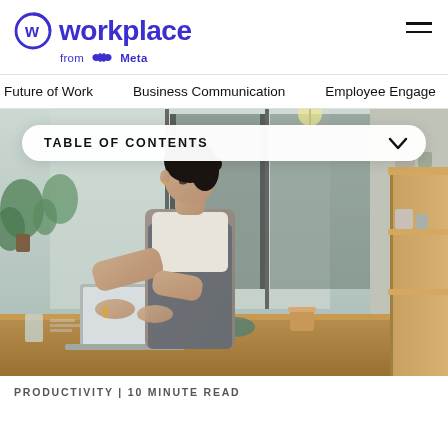workplace from Meta
Future of Work   Business Communication   Employee Engage
[Figure (photo): Photo of a woman working on a laptop at a cafe/workshop counter, with plants and large windows in the background. A 'TABLE OF CONTENTS' dropdown overlay is shown at the top of the image.]
PRODUCTIVITY | 10 MINUTE READ